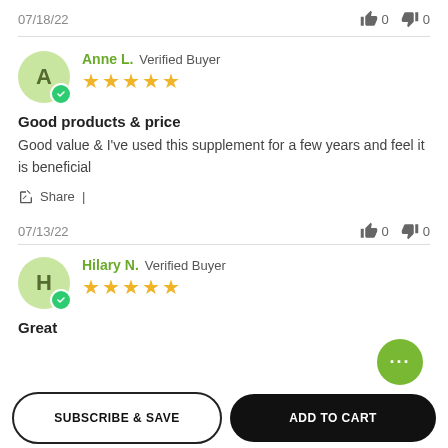07/18/22  👍 0  👎 0
Anne L. Verified Buyer ★★★★★
Good products & price
Good value & I've used this supplement for a few years and feel it is beneficial
Share |
07/13/22  👍 0  👎 0
Hilary N. Verified Buyer ★★★★★
Great